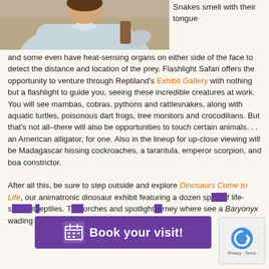[Figure (photo): Photo of a person in a light blue shirt, partially cropped at the top of the page]
Snakes smell with their tongue and some even have heat-sensing organs on either side of the face to detect the distance and location of the prey. Flashlight Safari offers the opportunity to venture through Reptiland's Exhibit Gallery with nothing but a flashlight to guide you, seeing these incredible creatures at work. You will see mambas, cobras, pythons and rattlesnakes, along with aquatic turtles, poisonous dart frogs, tree monitors and crocodilians. But that's not all–there will also be opportunities to touch certain animals. . . an American alligator, for one. Also in the lineup for up-close viewing will be Madagascar hissing cockroaches, a tarantula, emperor scorpion, and boa constrictor.
After all this, be sure to step outside and explore Dinosaurs Come to Life, our animatronic dinosaur exhibit featuring a dozen sp... of life-s... it... eptiles. Torches and spotlights... rney where see a Baryonyx wading in the swamp, the venom-spitting Dilophosaurus, gentle Brachiosaurus, a nervous...